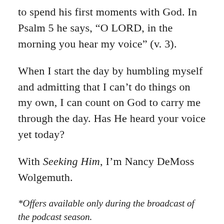to spend his first moments with God. In Psalm 5 he says, “O LORD, in the morning you hear my voice” (v. 3).
When I start the day by humbling myself and admitting that I can’t do things on my own, I can count on God to carry me through the day. Has He heard your voice yet today?
With Seeking Him, I’m Nancy DeMoss Wolgemuth.
*Offers available only during the broadcast of the podcast season.